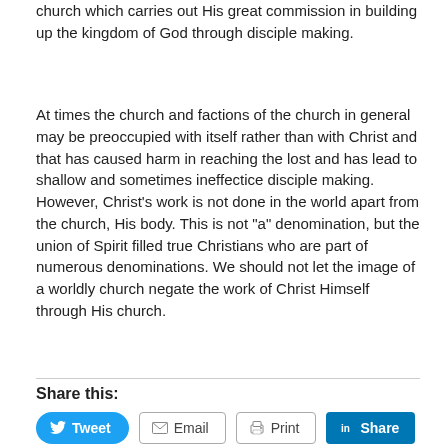church which carries out His great commission in building up the kingdom of God through disciple making.
At times the church and factions of the church in general may be preoccupied with itself rather than with Christ and that has caused harm in reaching the lost and has lead to shallow and sometimes ineffectice disciple making. However, Christ’s work is not done in the world apart from the church, His body. This is not “a” denomination, but the union of Spirit filled true Christians who are part of numerous denominations. We should not let the image of a worldly church negate the work of Christ Himself through His church.
Share this:
[Figure (other): Social sharing buttons: Tweet (Twitter/blue), Email (outlined), Print (outlined), Share (LinkedIn/teal)]